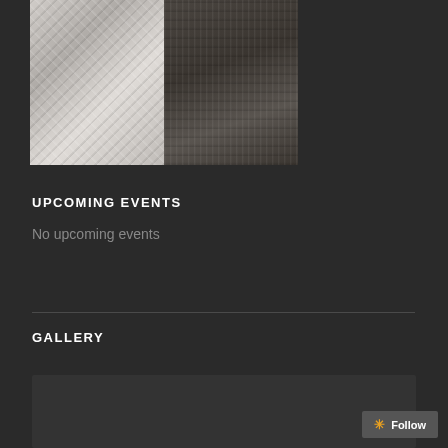[Figure (photo): Two side-by-side black and white photos: left shows lace fabric detail, right shows woven/knitted textile detail]
UPCOMING EVENTS
No upcoming events
GALLERY
[Figure (photo): Gallery viewer showing a photo of people outdoors with sky and bare trees in background]
Follow